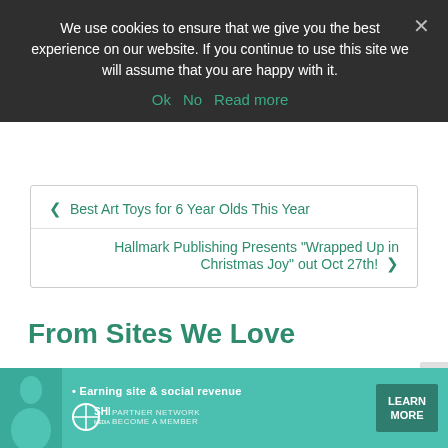We use cookies to ensure that we give you the best experience on our website. If you continue to use this site we will assume that you are happy with it.
Ok   No   Read more
< Best Art Toys for 6 Year Olds This Year
Hallmark Publishing Presents "Wrapped Up in Christmas Joy" out Oct 27th! >
From Sites We Love
[Figure (photo): Advertisement banner for SHE Media Partner Network with a person photo, tagline '• Earning site & social revenue', SHE logo, and LEARN MORE button]